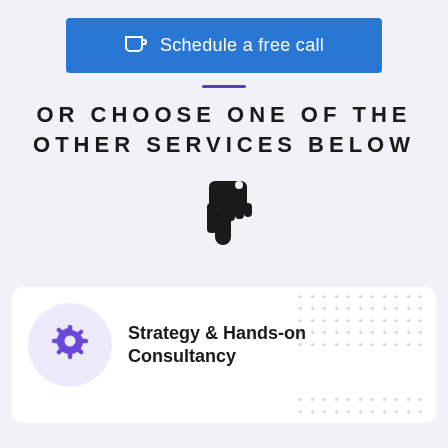[Figure (other): Blue button with coffee cup icon labeled 'Schedule a free call']
OR CHOOSE ONE OF THE OTHER SERVICES BELOW
[Figure (illustration): Thumbs down icon (hand pointing down) in dark/black style]
[Figure (illustration): White card with dotted pattern background, purple gear+magnifier icon on purple circle, and text 'Strategy & Hands-on Consultancy']
Strategy & Hands-on Consultancy